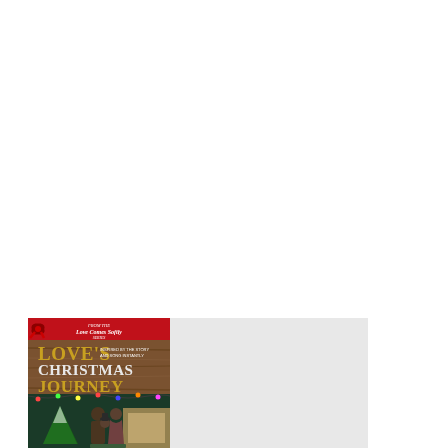[Figure (photo): Book cover for 'Love's Christmas Journey' from the Love Comes Softly series, shown in bottom-left of page. The cover features a red banner at top, a red bow ribbon, gold and white title text on a wooden/barn background, with figures of people (a man and woman and child) at the bottom near a Christmas tree. To the right of the book cover is a gray/light area.]